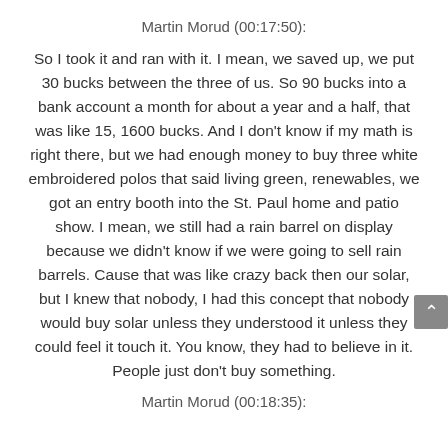Martin Morud (00:17:50):
So I took it and ran with it. I mean, we saved up, we put 30 bucks between the three of us. So 90 bucks into a bank account a month for about a year and a half, that was like 15, 1600 bucks. And I don't know if my math is right there, but we had enough money to buy three white embroidered polos that said living green, renewables, we got an entry booth into the St. Paul home and patio show. I mean, we still had a rain barrel on display because we didn't know if we were going to sell rain barrels. Cause that was like crazy back then our solar, but I knew that nobody, I had this concept that nobody would buy solar unless they understood it unless they could feel it touch it. You know, they had to believe in it. People just don't buy something.
Martin Morud (00:18:35):